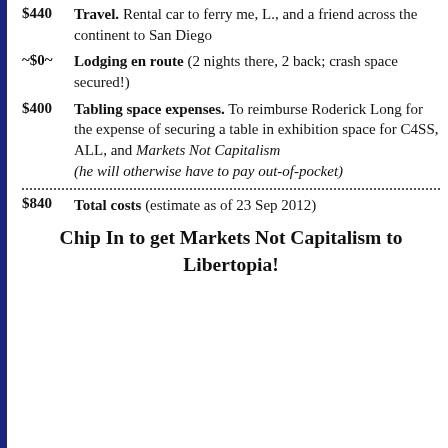$440 Travel. Rental car to ferry me, L., and a friend across the continent to San Diego
~$0~ Lodging en route (2 nights there, 2 back; crash space secured!)
$400 Tabling space expenses. To reimburse Roderick Long for the expense of securing a table in exhibition space for C4SS, ALL, and Markets Not Capitalism (he will otherwise have to pay out-of-pocket)
$840 Total costs (estimate as of 23 Sep 2012)
Chip In to get Markets Not Capitalism to Libertopia!